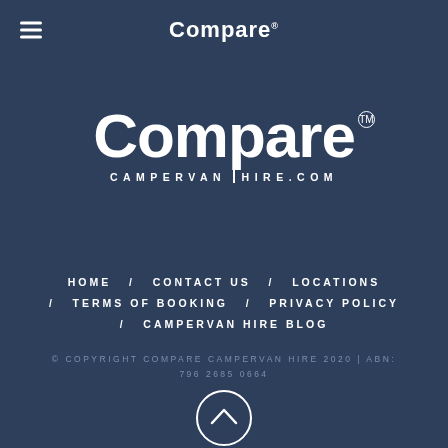Compare™
[Figure (logo): Compare Campervan Hire logo with large 'Compare' text and 'CAMPERVAN HIRE.COM' subtitle, TM mark]
HOME / CONTACT US / LOCATIONS / TERMS OF BOOKING / PRIVACY POLICY / CAMPERVAN HIRE BLOG
© COPYRIGHT COMPARE CAMPERVAN HIRE 2020 | ABN: 796 2685 0664
[Figure (other): Scroll-to-top button: circle with upward chevron]